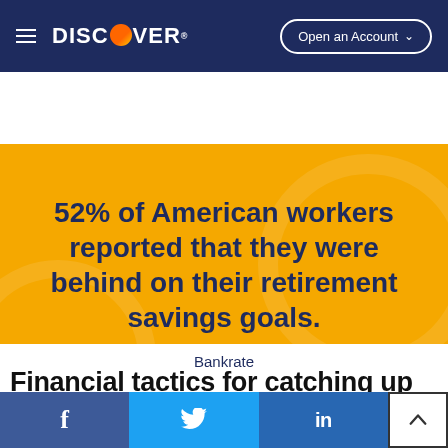DISCOVER — Open an Account
52% of American workers reported that they were behind on their retirement savings goals.
Bankrate
Financial tactics for catching up
f  Twitter  in  (scroll to top)